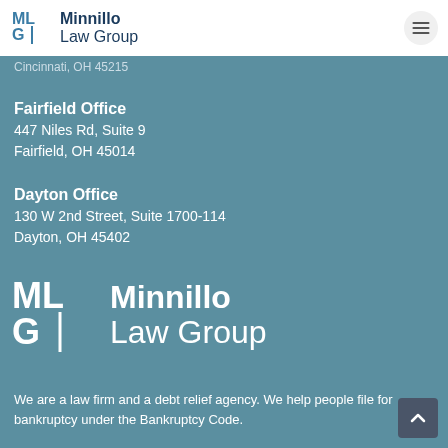Minnillo Law Group
Cincinnati, OH 45215
Fairfield Office
447 Niles Rd, Suite 9
Fairfield, OH 45014
Dayton Office
130 W 2nd Street, Suite 1700-114
Dayton, OH 45402
[Figure (logo): Minnillo Law Group large white logo with MLG monogram on teal background]
We are a law firm and a debt relief agency. We help people file for bankruptcy under the Bankruptcy Code.